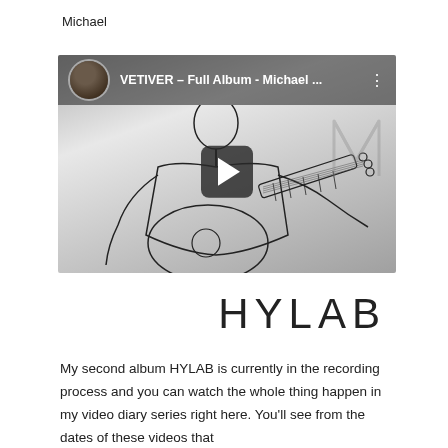Michael
[Figure (screenshot): YouTube video thumbnail showing a line-art illustration of a guitarist playing acoustic guitar, with a dark top bar showing a circular avatar photo, the title 'VETIVER - Full Album - Michael ...' in white text, a three-dot menu icon, a large play button overlay in the center, and a partially visible 'M' logo watermark in the upper right.]
HYLAB
My second album HYLAB is currently in the recording process and you can watch the whole thing happen in my video diary series right here. You'll see from the dates of these videos that